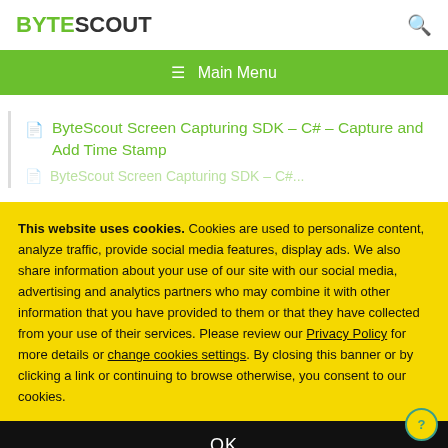BYTESCOUT
≡  Main Menu
ByteScout Screen Capturing SDK – C# – Capture and Add Time Stamp
This website uses cookies. Cookies are used to personalize content, analyze traffic, provide social media features, display ads. We also share information about your use of our site with our social media, advertising and analytics partners who may combine it with other information that you have provided to them or that they have collected from your use of their services. Please review our Privacy Policy for more details or change cookies settings. By closing this banner or by clicking a link or continuing to browse otherwise, you consent to our cookies.
OK